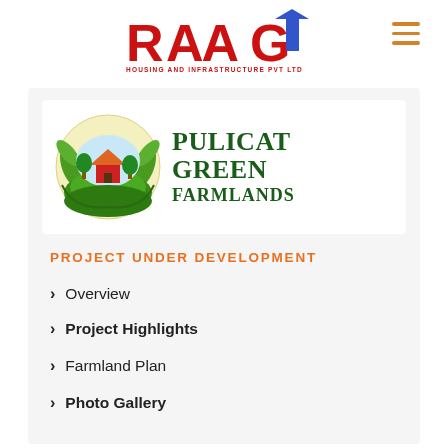[Figure (logo): RAAG Housing and Infrastructure Pvt Ltd logo with red stylized text and blue upward arrow]
[Figure (logo): Pulicat Green Farmlands logo with circular farmland icon and green bold text]
PROJECT UNDER DEVELOPMENT
Overview
Project Highlights
Farmland Plan
Photo Gallery